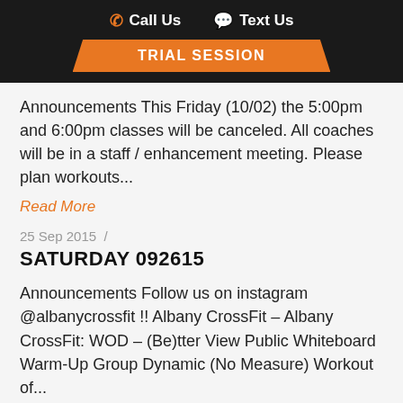Call Us   Text Us
[Figure (infographic): Orange parallelogram banner with white bold text: TRIAL SESSION]
Announcements This Friday (10/02) the 5:00pm and 6:00pm classes will be canceled. All coaches will be in a staff / enhancement meeting. Please plan workouts...
Read More
25 Sep 2015  /
SATURDAY 092615
Announcements Follow us on instagram @albanycrossfit !! Albany CrossFit – Albany CrossFit: WOD – (Be)tter View Public Whiteboard Warm-Up Group Dynamic (No Measure) Workout of...